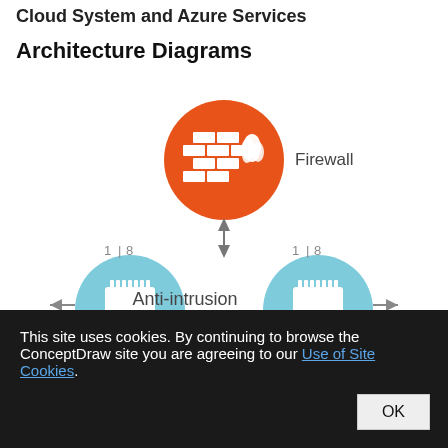Cloud System and Azure Services
Architecture Diagrams
[Figure (network-graph): Network architecture diagram showing a Firewall icon (orange circle with brick wall and flame) connected by arrows to two network port icons (light blue circles with RJ45 connector symbol), labeled 'Anti-intrusion sensor'. Each port has port numbers 1 and 8 labeled above, with bidirectional arrows on left and right sides.]
This site uses cookies. By continuing to browse the ConceptDraw site you are agreeing to our Use of Site Cookies.